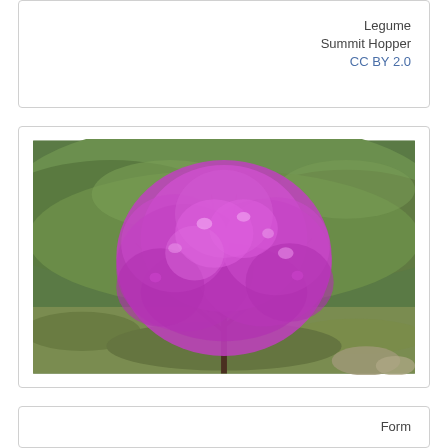Legume
Summit Hopper
CC BY 2.0
[Figure (photo): A flowering tree or large shrub covered in vivid magenta/pink-purple blossoms (likely a Judas tree or similar legume), set against a backdrop of green hills and scrubland.]
Form